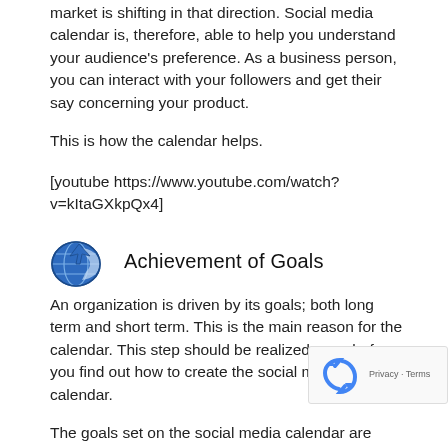market is shifting in that direction. Social media calendar is, therefore, able to help you understand your audience's preference. As a business person, you can interact with your followers and get their say concerning your product.
This is how the calendar helps.
[youtube https://www.youtube.com/watch?v=kItaGXkpQx4]
Achievement of Goals
An organization is driven by its goals; both long term and short term. This is the main reason for the calendar. This step should be realized even before you find out how to create the social media calendar.
The goals set on the social media calendar are realis… achievable. With everything set on the platform, you can…